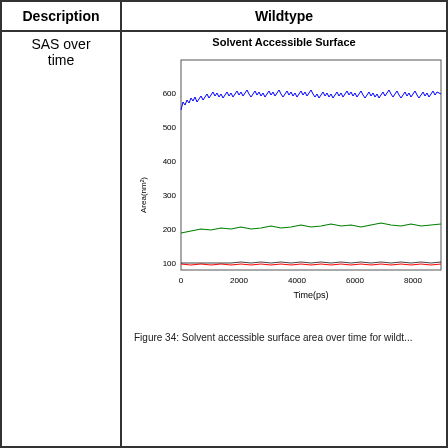| Description | Wildtype |
| --- | --- |
| SAS over time | [line chart: Solvent Accessible Surface] |
[Figure (continuous-plot): Line chart showing solvent accessible surface area over time for wildtype. Three lines: blue line near 600-650 nm² (noisy), green line near 190 nm², red/black line near 90 nm². X-axis from 0 to ~8500 ps.]
Figure 34: Solvent accessible surface area over time for wildt...